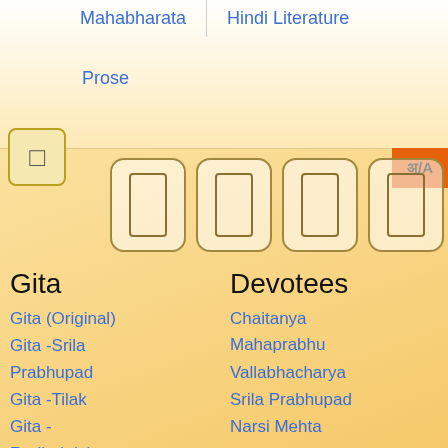Mahabharata
Hindi Literature
Prose
[Figure (infographic): Navigation UI with icon boxes and script characters representing app interface elements]
Gita
Devotees
Gita (Original)
Chaitanya Mahaprabhu
Gita -Srila Prabhupad
Vallabhacharya
Gita -Tilak
Srila Prabhupad
Gita -Radhakrishnan
Narsi Mehta
Gita -Arvind
Krishnadas
Gita -Vinoba
Kaviraj
Gyaneshwari
Literature
Sanskrit Literature